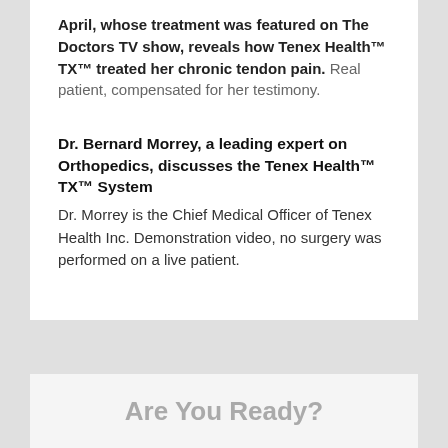April, whose treatment was featured on The Doctors TV show, reveals how Tenex Health™ TX™ treated her chronic tendon pain. Real patient, compensated for her testimony.
Dr. Bernard Morrey, a leading expert on Orthopedics, discusses the Tenex Health™ TX™ System
Dr. Morrey is the Chief Medical Officer of Tenex Health Inc. Demonstration video, no surgery was performed on a live patient.
To contact Dr. Sammy Masri please fill out the form on the right.
Are You Ready?